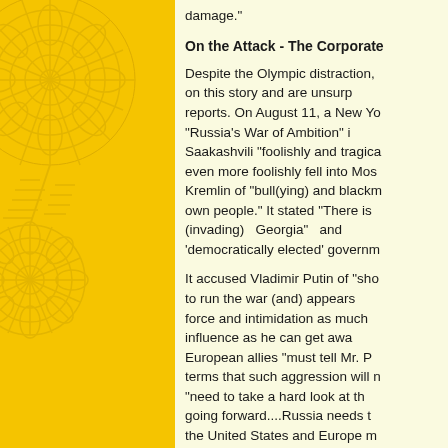[Figure (illustration): Yellow panel with embossed mandala/sun wheel decorative pattern in darker yellow/gold on the left side of the page.]
damage."
On the Attack - The Corporate
Despite the Olympic distraction, on this story and are unsurp reports. On August 11, a New Yo "Russia's War of Ambition" i Saakashvili "foolishly and tragica even more foolishly fell into Mos Kremlin of "bull(ying) and blackm own people." It stated "There is (invading) Georgia" and 'democratically elected' governm
It accused Vladimir Putin of "sho to run the war (and) appears force and intimidation as much influence as he can get awa European allies "must tell Mr. P terms that such aggression will n "need to take a hard look at th going forward....Russia needs t the United States and Europe m less is unacceptable."